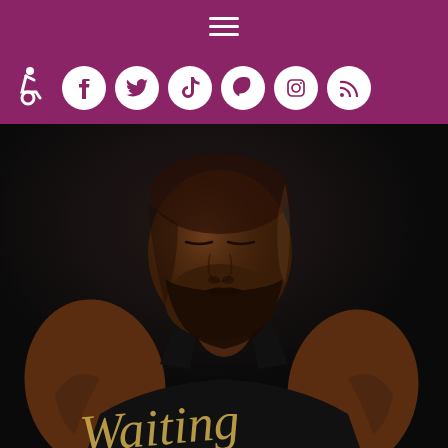[Figure (other): Website header with hamburger menu icon on dark magenta/purple background]
[Figure (other): Navigation bar with accessibility icon and social media icons (Facebook, Twitter, TikTok, Pinterest, Instagram, RSS) on dark magenta/purple background]
[Figure (photo): Black man with beard wearing a black sleeveless tank top with gold script text reading 'Waiting', looking downward, against a dark background. Portrait/promotional style photo.]